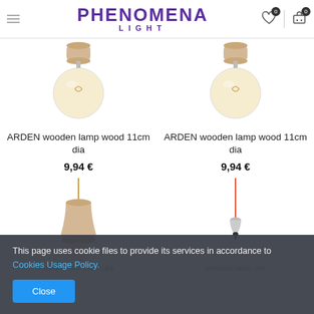PHENOMENA LIGHT — navigation header with hamburger menu, logo, wishlist and cart icons
[Figure (photo): ARDEN wooden ceiling lamp with globe bulb, wood base, 11cm diameter — left product]
ARDEN wooden lamp wood 11cm dia
9,94 €
[Figure (photo): ARDEN wooden ceiling lamp with globe bulb, wood base, 11cm diameter — right product]
ARDEN wooden lamp wood 11cm dia
9,94 €
[Figure (photo): Wooden pendant lamp with bell-shaped wood canopy and gold cord — lower left product]
[Figure (photo): Chrome pendant lamp with red cord — lower right product (AXE)]
This page uses cookie files to provide its services in accordance to Cookies Usage Policy.
Close